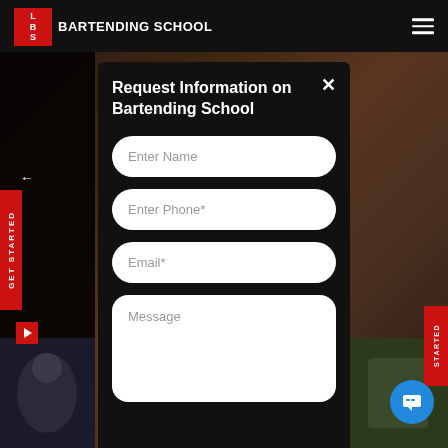LBS BARTENDING SCHOOL
Request Information on Bartending School
Enter Name
Enter Phone*
Email*
Message